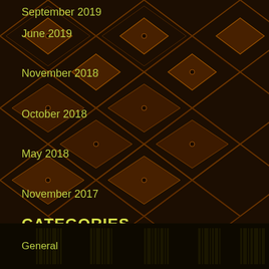September 2019
June 2019
November 2018
October 2018
May 2018
November 2017
June 2017
April 2017
February 2017
December 2016
October 2016
CATEGORIES
General